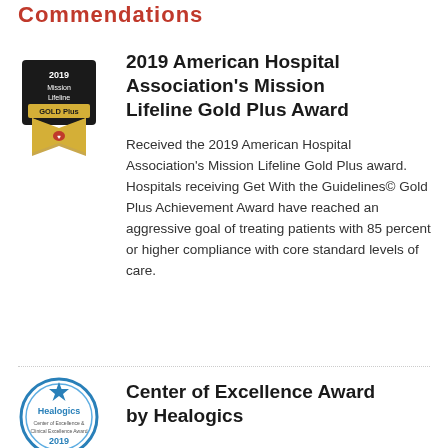Commendations
[Figure (logo): 2019 Mission Lifeline Gold Plus award badge with black background and gold ribbon]
2019 American Hospital Association's Mission Lifeline Gold Plus Award
Received the 2019 American Hospital Association's Mission Lifeline Gold Plus award. Hospitals receiving Get With the Guidelines© Gold Plus Achievement Award have reached an aggressive goal of treating patients with 85 percent or higher compliance with core standard levels of care.
[Figure (logo): Healogics Center of Excellence Award 2019 circular badge with teal/blue border and star]
Center of Excellence Award by Healogics